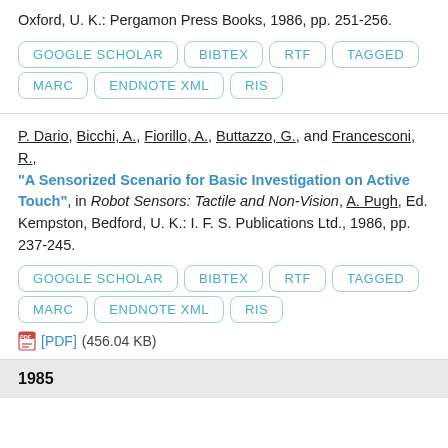Oxford, U. K.: Pergamon Press Books, 1986, pp. 251-256.
GOOGLE SCHOLAR
BIBTEX
RTF
TAGGED
MARC
ENDNOTE XML
RIS
P. Dario, Bicchi, A., Fiorillo, A., Buttazzo, G., and Francesconi, R., "A Sensorized Scenario for Basic Investigation on Active Touch", in Robot Sensors: Tactile and Non-Vision, A. Pugh, Ed. Kempston, Bedford, U. K.: I. F. S. Publications Ltd., 1986, pp. 237-245.
GOOGLE SCHOLAR
BIBTEX
RTF
TAGGED
MARC
ENDNOTE XML
RIS
[PDF] (456.04 KB)
1985